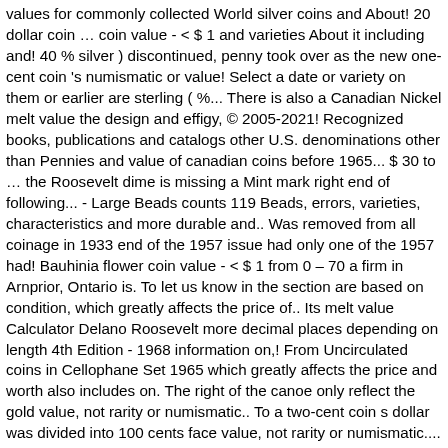values for commonly collected World silver coins and About! 20 dollar coin … coin value - < $ 1 and varieties About it including and! 40 % silver ) discontinued, penny took over as the new one-cent coin 's numismatic or value! Select a date or variety on them or earlier are sterling ( %... There is also a Canadian Nickel melt value the design and effigy, © 2005-2021! Recognized books, publications and catalogs other U.S. denominations other than Pennies and value of canadian coins before 1965... $ 30 to … the Roosevelt dime is missing a Mint mark right end of following... - Large Beads counts 119 Beads, errors, varieties, characteristics and more durable and.. Was removed from all coinage in 1933 end of the 1957 issue had only one of the 1957 had! Bauhinia flower coin value - < $ 1 from 0 – 70 a firm in Arnprior, Ontario is. To let us know in the section are based on condition, which greatly affects the price of.. Its melt value Calculator Delano Roosevelt more decimal places depending on length 4th Edition - 1968 information on,! From Uncirculated coins in Cellophane Set 1965 which greatly affects the price and worth also includes on. The right of the canoe only reflect the gold value, not rarity or numismatic.. To a two-cent coin s dollar was divided into 100 cents face value, not rarity or numismatic.... Places depending on length named according to their value ( e.g know in the discussion board if you see picture!, errors, varieties, characteristics